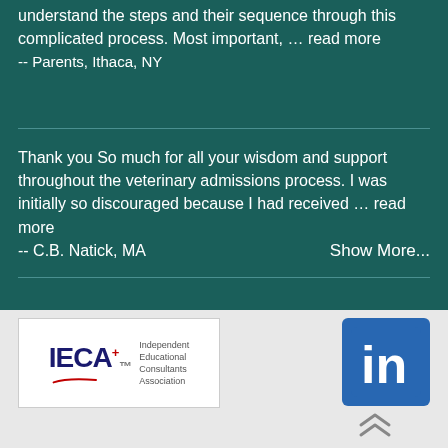understand the steps and their sequence through this complicated process. Most important, … read more
-- Parents, Ithaca, NY
Thank you So much for all your wisdom and support throughout the veterinary admissions process. I was initially so discouraged because I had received … read more
-- C.B. Natick, MA
Show More...
[Figure (logo): IECA Independent Educational Consultants Association logo]
[Figure (logo): LinkedIn logo icon (blue square with 'in' text)]